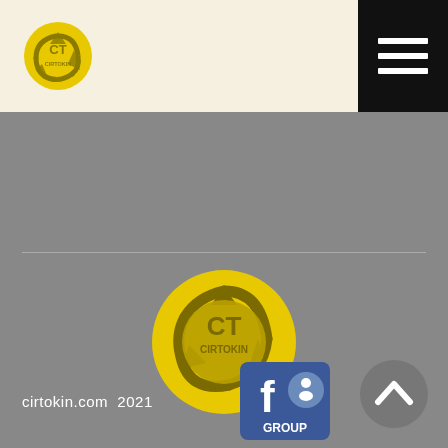[Figure (logo): Cirtokin CT logo - yellow circle with recycling arrows and CT text, in header bar]
[Figure (other): Black hamburger menu button with three white horizontal bars, top right corner]
[Figure (logo): Large Cirtokin CT logo centered - yellow recycling arrows circle with CT CIRTOKIN text inside on grey background]
[Figure (other): Facebook Group badge - blue square with f logo and group icon, GROUP text below]
cirtokin.com  2021
[Figure (other): Grey circular scroll-to-top button with white upward chevron arrow, bottom right]